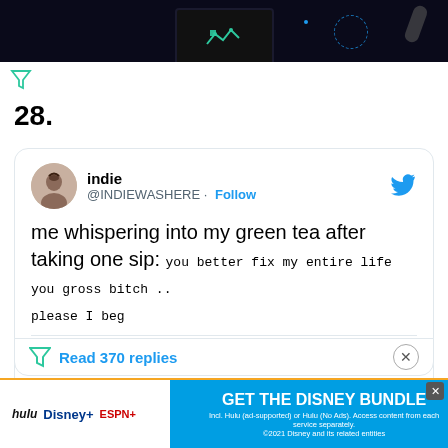[Figure (screenshot): Top portion of a game/app advertisement with dark background]
28.
[Figure (screenshot): Tweet from @INDIEWASHERE (indie): 'me whispering into my green tea after taking one sip: you better fix my entire life you gross bitch .. please I beg' posted 9:12 PM · Nov 13, 2017 with 174.8K likes]
Read 370 replies
[Figure (screenshot): Disney Bundle advertisement banner with Hulu, Disney+, ESPN+ logos and 'GET THE DISNEY BUNDLE' CTA]